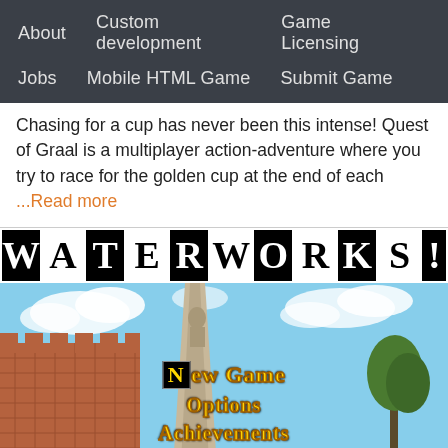About  Custom development  Game Licensing  Jobs  Mobile HTML Game  Submit Game
Chasing for a cup has never been this intense! Quest of Graal is a multiplayer action-adventure where you try to race for the golden cup at the end of each ...Read more
[Figure (screenshot): Waterworks game screenshot showing the WATERWORKS! title in black and white letter tiles across the top, with a background scene of a brick building and stone obelisk against a blue sky. Game menu overlaid showing: New Game, Options, Achievements, Credits in yellow bold text.]